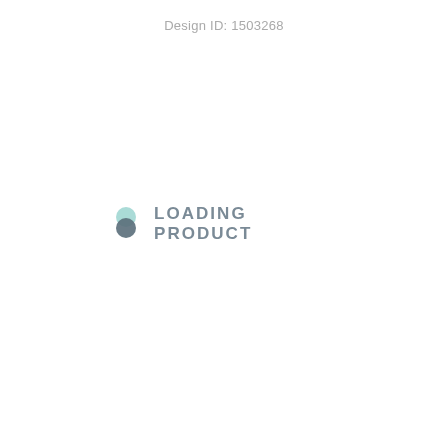Design ID: 1503268
[Figure (logo): A two-circle loading spinner icon: a mint/teal circle on top overlapping a dark slate circle on the bottom, forming a figure-8 or pin-drop shape.]
LOADING PRODUCT